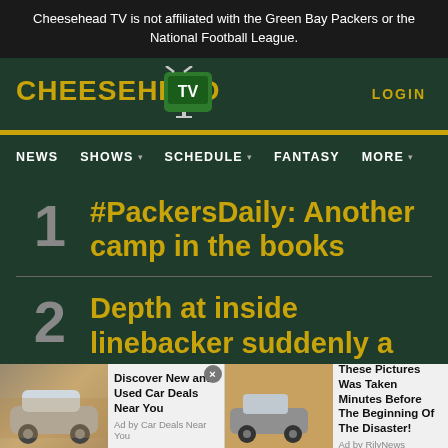Cheesehead TV is not affiliated with the Green Bay Packers or the National Football League.
[Figure (logo): Cheesehead TV logo with yellow stylized text and green TV icon]
LOGIN
NEWS  SHOWS  SCHEDULE  FANTASY  MORE
#PackersDaily: Another camp in the books
Depth at inside linebacker suddenly a
[Figure (infographic): Bottom ad banner with two ads: 'Discover New and Used Car Deals Near You' by Car Deals Near You, and 'These Pictures Was Taken Minutes Before The Beginning Of The Disaster!' by RilyNews]